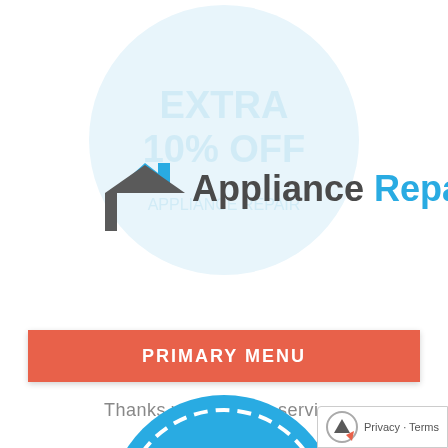[Figure (logo): Appliance Repair logo with house icon (gray and blue roof shape) and text 'Appliance Repair' where 'Appliance' is dark gray and 'Repair' is blue. Background shows a faint light-blue circle with 'EXTRA 10% OFF' watermark text.]
PRIMARY MENU
Thanks you for your service.
[Figure (infographic): Bright blue circular coupon badge with dashed white border containing white text 'EXTRA 10% OFF'. Partially cropped at the bottom of the page.]